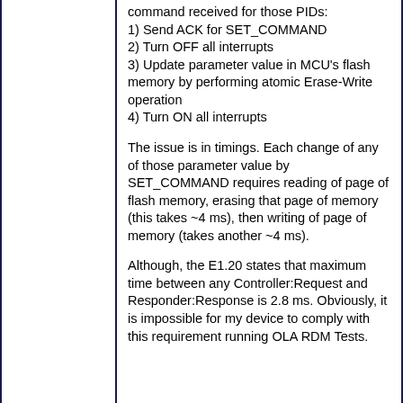command received for those PIDs:
1) Send ACK for SET_COMMAND
2) Turn OFF all interrupts
3) Update parameter value in MCU's flash memory by performing atomic Erase-Write operation
4) Turn ON all interrupts
The issue is in timings. Each change of any of those parameter value by SET_COMMAND requires reading of page of flash memory, erasing that page of memory (this takes ~4 ms), then writing of page of memory (takes another ~4 ms).
Although, the E1.20 states that maximum time between any Controller:Request and Responder:Response is 2.8 ms. Obviously, it is impossible for my device to comply with this requirement running OLA RDM Tests.